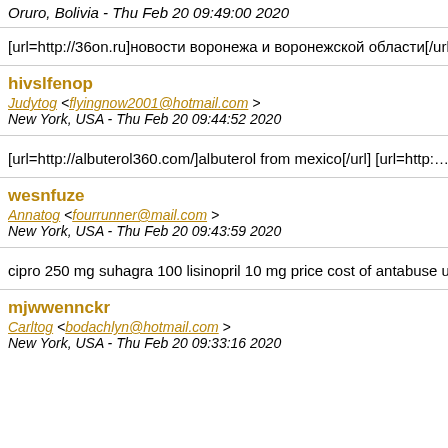Oruro, Bolivia - Thu Feb 20 09:49:00 2020
[url=http://36on.ru]новости воронежа и воронежской области[/u…
hivslfenop
Judytog <flyingnow2001@hotmail.com> New York, USA - Thu Feb 20 09:44:52 2020
[url=http://albuterol360.com/]albuterol from mexico[/url] [url=http:…
wesnfuze
Annatog <fourrunner@mail.com> New York, USA - Thu Feb 20 09:43:59 2020
cipro 250 mg suhagra 100 lisinopril 10 mg price cost of antabuse uk…
mjwwennckr
Carltog <bodachlyn@hotmail.com> New York, USA - Thu Feb 20 09:33:16 2020